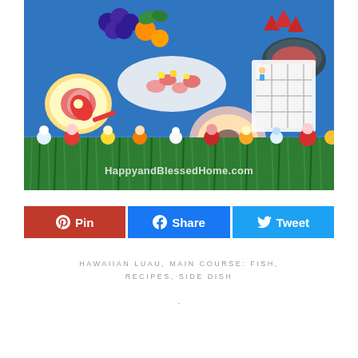[Figure (photo): Hawaiian luau party table setup with colorful food platters including shrimp, fruit, grapes, strawberries, and party decorations on a blue tablecloth. The table is decorated with a green grass skirt and colorful tropical flowers. A watermark reads HappyandBlessedHome.com at the bottom of the image.]
[Figure (infographic): Three social sharing buttons: red Pinterest Pin button, blue Facebook Share button, and light blue Twitter Tweet button]
HAWAIIAN LUAU, MAIN COURSE: FISH, RECIPES, SIDE DISH
·